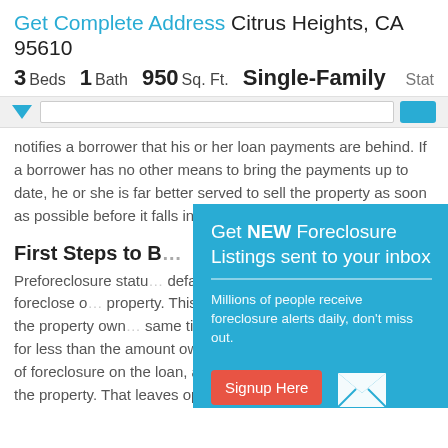Get Complete Address Citrus Heights, CA 95610
3 Beds  1 Bath  950 Sq. Ft.  Single-Family  Stat
notifies a borrower that his or her loan payments are behind. If a borrower has no other means to bring the payments up to date, he or she is far better served to sell the property as soon as possible before it falls into foreclosure.
First Steps to B…
Preforeclosure statu… defaulted on his mo… steps to foreclose o… property. This situati… lender in a disadvan… for the property own… same time the lende… (sale of the property for less than the amount owed) just to avoid the costly process of foreclosure on the loan, and then the expense of marketing the property. That leaves open the
[Figure (infographic): Blue modal overlay: 'Get NEW Foreclosure Listings sent to your inbox' with Signup Here button, mail icon, and No Thanks | Remind Me Later links]